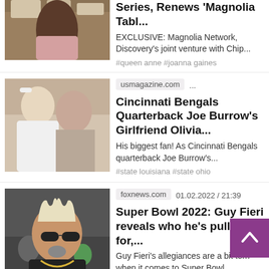[Figure (photo): Woman in kitchen, partially cropped at top]
Series, Renews 'Magnolia Tabl...
EXCLUSIVE: Magnolia Network, Discovery's joint venture with Chip...
#queen anne #joanna gaines
[Figure (photo): Young man and woman posed together, couple photo]
usmagazine.com ...
Cincinnati Bengals Quarterback Joe Burrow's Girlfriend Olivia...
His biggest fan! As Cincinnati Bengals quarterback Joe Burrow's...
#state louisiana #state ohio
[Figure (photo): Man with spiky blonde hair and sunglasses (Guy Fieri)]
foxnews.com  01.02.2022 / 21:39
Super Bowl 2022: Guy Fieri reveals who he's pulling for,...
Guy Fieri's allegiances are a bit torn when it comes to Super Bowl...
#guy fieri #fox #los angeles
[Figure (photo): Partial bottom thumbnail, dark image]
nmo.com  21.12.2021 / 22:25